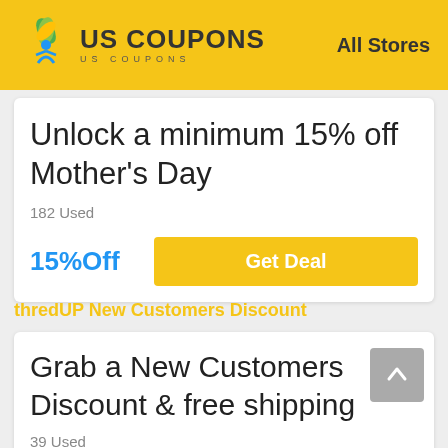US COUPONS  All Stores
Unlock a minimum 15% off Mother's Day
182 Used
15%Off
Get Deal
thredUP New Customers Discount
Grab a New Customers Discount & free shipping
39 Used